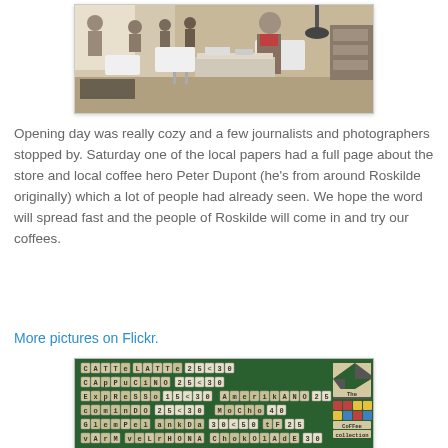[Figure (photo): Interior of a coffee shop on opening day, showing customers seated at tables and a person standing near a counter with coffee equipment.]
Opening day was really cozy and a few journalists and photographers stopped by. Saturday one of the local papers had a full page about the store and local coffee hero Peter Dupont (he's from around Roskilde originally) which a lot of people had already seen. We hope the word will spread fast and the people of Roskilde will come in and try our coffees.
More pictures on Flickr.
[Figure (photo): A menu board made of Scrabble/letter tiles on a green background showing coffee drinks and prices: CATTe LATTe 25<30, CApPuCiNO 25<30, ExpResSo 15<30, AmerikANO 25, cominDO 25<30, MoCho 40, GlomPel ankDa 30<50, tF 25, vArM veLrHONA ChokOlAdE 30, and a 'The Coffee Collection' section.]